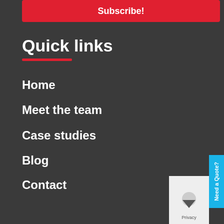Subscribe!
Quick links
Home
Meet the team
Case studies
Blog
Contact
Privacy policy
Terms & Conditions
Payment Terms & Conditions
Need a Quote?